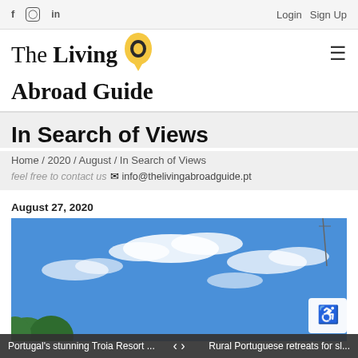f  Instagram  in    Login  Sign Up
[Figure (logo): The Living Abroad Guide logo with yellow map pin icon]
In Search of Views
Home / 2020 / August / In Search of Views
feel free to contact us  info@thelivingabroadguide.pt
August 27, 2020
[Figure (photo): Blue sky with white clouds and green tree tops visible at lower left]
Portugal's stunning Troia Resort ...   <  >   Rural Portuguese retreats for sl...